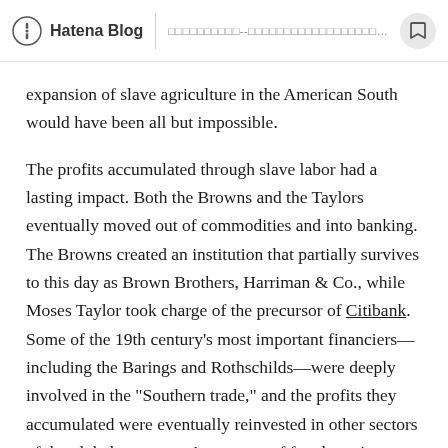Hatena Blog | □□□□□□□□□□--□□□□□□□□□□□□□□□□□□□□□□□□□□□□
expansion of slave agriculture in the American South would have been all but impossible.
The profits accumulated through slave labor had a lasting impact. Both the Browns and the Taylors eventually moved out of commodities and into banking. The Browns created an institution that partially survives to this day as Brown Brothers, Harriman & Co., while Moses Taylor took charge of the precursor of Citibank. Some of the 19th century's most important financiers—including the Barings and Rothschilds—were deeply involved in the "Southern trade," and the profits they accumulated were eventually reinvested in other sectors of the global economy. As a group of freedmen in Virginia